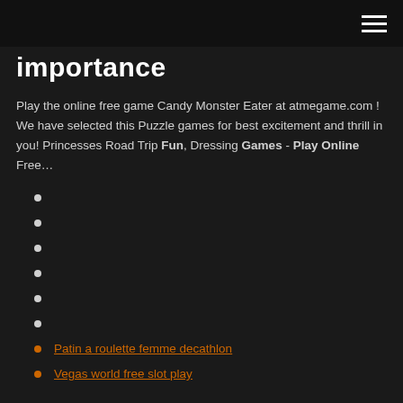importance
importance
Play the online free game Candy Monster Eater at atmegame.com ! We have selected this Puzzle games for best excitement and thrill in you! Princesses Road Trip Fun, Dressing Games - Play Online Free…
Patin a roulette femme decathlon
Vegas world free slot play